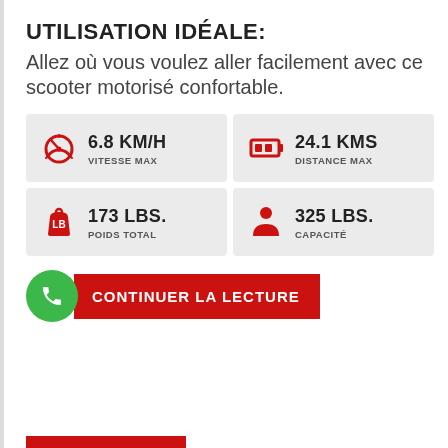UTILISATION IDEALE:
Allez où vous voulez aller facilement avec ce scooter motorisé confortable.
[Figure (infographic): Four specification cards in a 2x2 grid showing: 6.8 KM/H VITESSE MAX, 24.1 KMS DISTANCE MAX, 173 LBS. POIDS TOTAL, 325 LBS. CAPACITÉ, each with a red icon.]
CONTINUER LA LECTURE